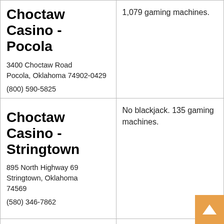| Casino | Details |
| --- | --- |
| Choctaw Casino - Pocola
3400 Choctaw Road
Pocola, Oklahoma 74902-0429
(800) 590-5825 | 1,079 gaming machines. |
| Choctaw Casino - Stringtown
895 North Highway 69
Stringtown, Oklahoma 74569
(580) 346-7862 | No blackjack. 135 gaming machines. |
| Choctaw Casino [D...] | 25 blackjack tables, poker [and 785...] |